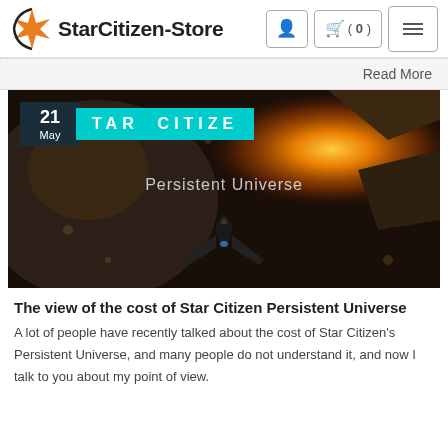StarCitizen-Store
Read More
[Figure (screenshot): Game screenshot showing a spaceship flying through an asteroid field with the text 'Persistent Universe' overlaid. Date badge shows '21 May' and a cyan tag reads 'TAR CITIZE'.]
The view of the cost of Star Citizen Persistent Universe
A lot of people have recently talked about the cost of Star Citizen's Persistent Universe, and many people do not understand it, and now I talk to you about my point of view.